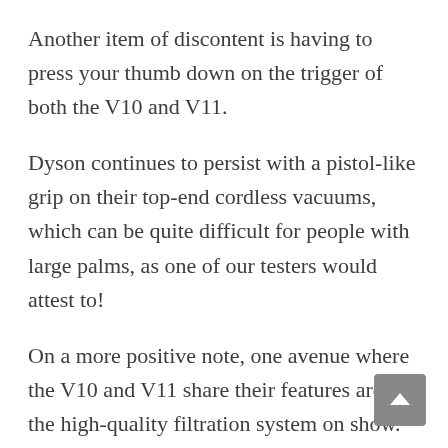Another item of discontent is having to press your thumb down on the trigger of both the V10 and V11.
Dyson continues to persist with a pistol-like grip on their top-end cordless vacuums, which can be quite difficult for people with large palms, as one of our testers would attest to!
On a more positive note, one avenue where the V10 and V11 share their features are in the high-quality filtration system on show.